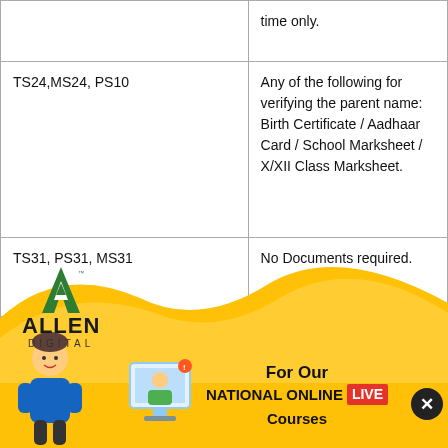| Course | Documents Required |
| --- | --- |
|  | time only. |
| TS24,MS24, PS10 | Any of the following for verifying the parent name: Birth Certificate / Aadhaar Card / School Marksheet / X/XII Class Marksheet. |
| TS31, PS31, MS31 | No Documents required. |
|  | Photocopy of TALLENTEX-2021 (Held in 2020) Result published on site. |
[Figure (infographic): Allen Digital promotional banner with yellow wave background, Allen Digital logo, student illustration, and text 'For Our NATIONAL ONLINE LIVE Courses' with a close button.]